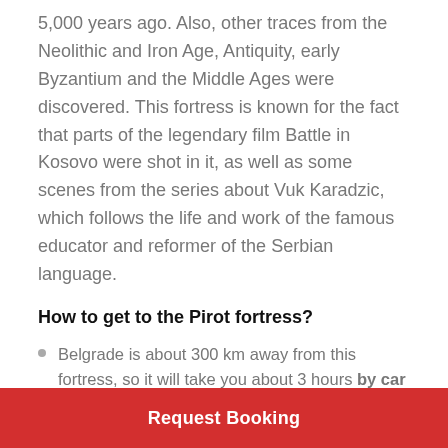5,000 years ago. Also, other traces from the Neolithic and Iron Age, Antiquity, early Byzantium and the Middle Ages were discovered. This fortress is known for the fact that parts of the legendary film Battle in Kosovo were shot in it, as well as some scenes from the series about Vuk Karadzic, which follows the life and work of the famous educator and reformer of the Serbian language.
How to get to the Pirot fortress?
Belgrade is about 300 km away from this fortress, so it will take you about 3 hours by car to reach it (by highway A1 / E75).
Request Booking